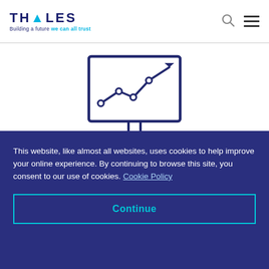THALES — Building a future we can all trust
[Figure (illustration): Monitor icon with a line chart showing upward trend, representing software monetization]
Software Monetization
This website, like almost all websites, uses cookies to help improve your online experience. By continuing to browse this site, you consent to our use of cookies. Cookie Policy
Continue